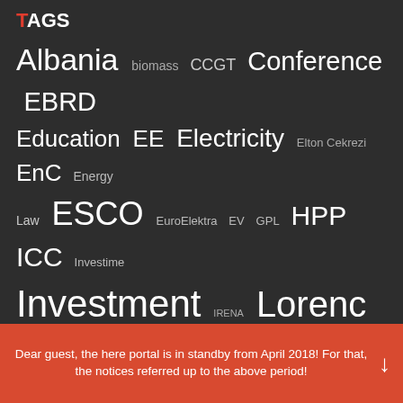TAGS
Albania biomass CCGT Conference EBRD Education EE Electricity Elton Cekrezi EnC Energy Law ESCO EuroElektra EV GPL HPP ICC Investime Investment IRENA Lorenc Gordani Mine Natural Gas Oil PPP Promo Prosumers PV Regulation REM TAP Trading Urban Waste Management WB6 Wind Women
Dear guest, the here portal is in standby from April 2018! For that, the notices referred up to the above period!